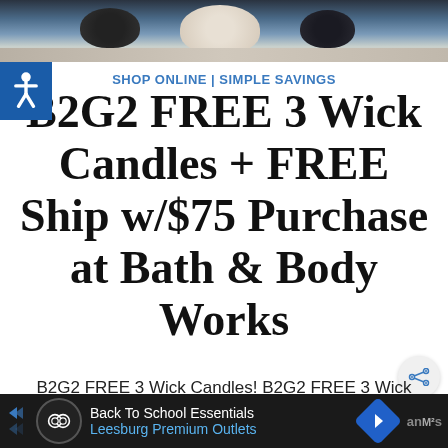[Figure (photo): Top portion of product photo showing candles at Bath & Body Works, partially cropped]
SHOP ONLINE | SIMPLE SAVINGS
B2G2 FREE 3 Wick Candles + FREE Ship w/$75 Purchase at Bath & Body Works
B2G2 FREE 3 Wick Candles! B2G2 FREE 3 Wick Candles! For a limited time, head to Bath & Body Works online OR in-store for a great
[Figure (infographic): Advertisement bar at bottom: Back To School Essentials - Leesburg Premium Outlets, with logo and navigation arrows]